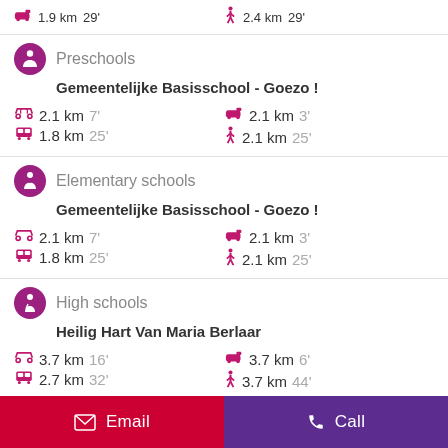🚗 1.9 km  29'    🚶 2.4 km  29'
Preschools
Gemeentelijke Basisschool - Goezo !
🚲 2.1 km 7'   🚗 2.1 km 3'   🚌 1.8 km 25'   🚶 2.1 km 25'
Elementary schools
Gemeentelijke Basisschool - Goezo !
🚲 2.1 km 7'   🚗 2.1 km 3'   🚌 1.8 km 25'   🚶 2.1 km 25'
High schools
Heilig Hart Van Maria Berlaar
🚲 3.7 km 16'   🚗 3.7 km 6'   🚌 2.7 km 32'   🚶 3.7 km 44'
Email   Call